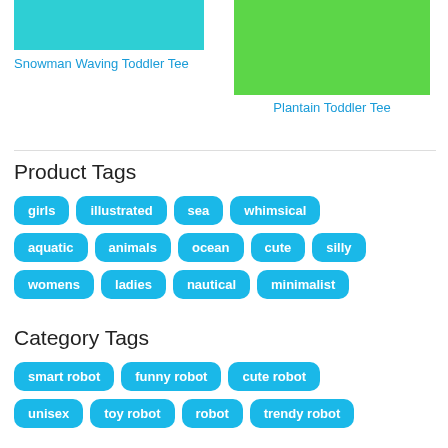[Figure (photo): Product image of Snowman Waving Toddler Tee on teal background]
Snowman Waving Toddler Tee
[Figure (photo): Product image of Plantain Toddler Tee on green background]
Plantain Toddler Tee
Product Tags
girls
illustrated
sea
whimsical
aquatic
animals
ocean
cute
silly
womens
ladies
nautical
minimalist
Category Tags
smart robot
funny robot
cute robot
unisex
toy robot
robot
trendy robot